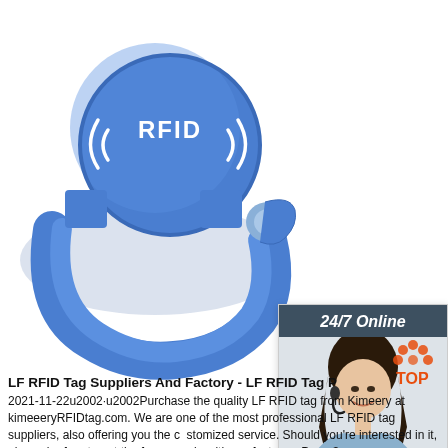[Figure (photo): Blue silicone RFID wristband/bracelet with circular RFID tag showing ((RFID)) text and signal waves, on white background]
[Figure (infographic): 24/7 Online chat widget with dark header, photo of female customer service agent with headset, 'Click here for free chat!' text, and orange QUOTATION button]
LF RFID Tag Suppliers And Factory - LF RFID Tag P
2021-11-22u2002·u2002Purchase the quality LF RFID tag from Kimeery at kimeeeryRFIDtag.com. We are one of the most professional LF RFID tag suppliers, also offering you the customized service. Should you're interested in it, please be free to get the free sample with our factory. - Page 3